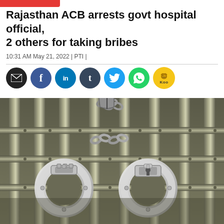Rajasthan ACB arrests govt hospital official, 2 others for taking bribes
10:31 AM May 21, 2022 | PTI |
[Figure (infographic): Social media share buttons row: email (black), Facebook (blue), LinkedIn (blue), Tumblr (dark blue), Twitter (light blue), WhatsApp (green), Koo (yellow)]
[Figure (photo): Handcuffs hanging on prison bars, sepia/dark toned photograph]